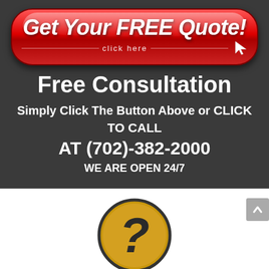[Figure (illustration): Red rounded-rectangle button with white bold italic text 'Get Your FREE Quote!' and smaller text 'click here' with decorative lines, and a cursor arrow icon pointing at it]
Free Consultation
Simply Click The Button Above or CLICK TO CALL AT (702)-382-2000 WE ARE OPEN 24/7
[Figure (illustration): Gold/dark-yellow circle with a question mark symbol in dark outline style]
Why Hire Us?
We care, we communicate & we